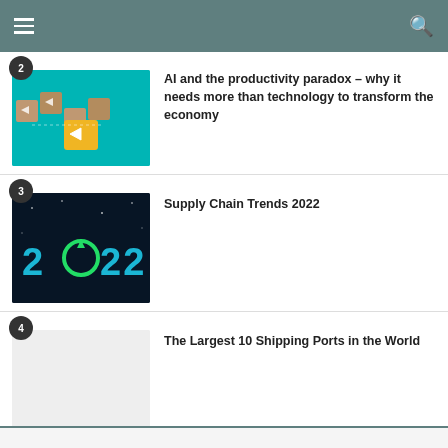AI and the productivity paradox – why it needs more than technology to transform the economy
[Figure (photo): Photo showing wooden blocks with arrow icons on a teal/turquoise background, with a yellow cube featuring a right-arrow symbol, numbered 2]
Supply Chain Trends 2022
[Figure (photo): Dark background image with glowing text '2022' featuring a circular arrow/refresh icon replacing the zero, numbered 3]
The Largest 10 Shipping Ports in the World
[Figure (photo): Light grey placeholder image, numbered 4]